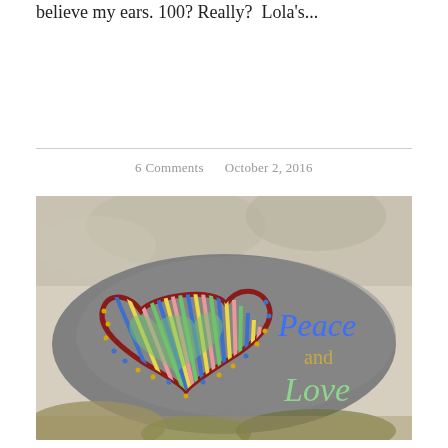believe my ears. 100? Really?  Lola's...
6 Comments    October 2, 2016
[Figure (photo): A smooth grey rock painted with a colorful heart design and the words 'Peace and Love'. The heart is outlined in dark red with radiating colorful stripes (blue, yellow, green, pink) and surrounded by small gold dots. The text 'Peace' is in blue and 'and Love' is in mint/light green. The rock sits among other rocks and gravel.]